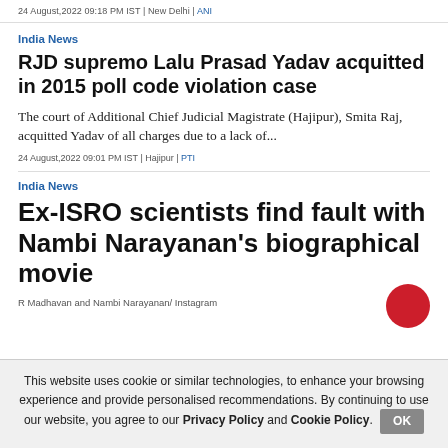24 August,2022 09:18 PM IST | New Delhi | ANI
India News
RJD supremo Lalu Prasad Yadav acquitted in 2015 poll code violation case
The court of Additional Chief Judicial Magistrate (Hajipur), Smita Raj, acquitted Yadav of all charges due to a lack of...
24 August,2022 09:01 PM IST | Hajipur | PTI
India News
Ex-ISRO scientists find fault with Nambi Narayanan's biographical movie
R Madhavan and Nambi Narayanan/ Instagram
This website uses cookie or similar technologies, to enhance your browsing experience and provide personalised recommendations. By continuing to use our website, you agree to our Privacy Policy and Cookie Policy.